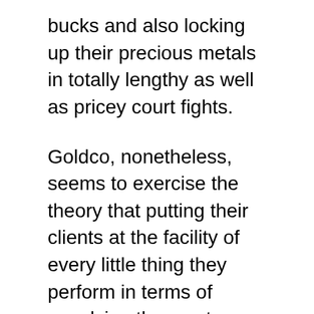bucks and also locking up their precious metals in totally lengthy as well as pricey court fights.
Goldco, nonetheless, seems to exercise the theory that putting their clients at the facility of every little thing they perform in terms of supplying the most effective achievable solution is the only method to carry out business, just like it needs to be actually.
Our experts confess that they have a tendency to become more pricey than their lowest finances competitors. What they take to the table for you in terms premium service much exceeds this problem (in various other terms you receive what you pay for, in this scenario that's exceptional credible service